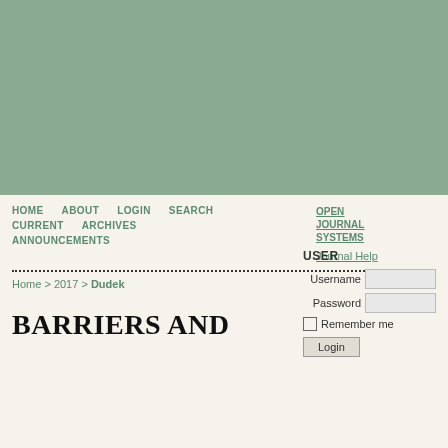[Figure (other): Green/sage colored header banner background]
HOME  ABOUT  LOGIN  SEARCH  CURRENT  ARCHIVES  ANNOUNCEMENTS
OPEN JOURNAL SYSTEMS
Journal Help
Home > 2017 > Dudek
USER
Username
Password
Remember me
Login
BARRIERS AND